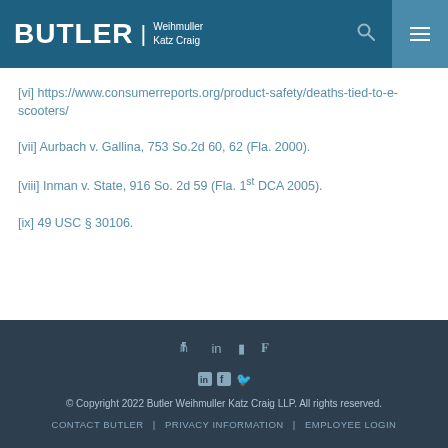BUTLER Weihmuller Katz Craig
[vi] https://www.consumerreports.org/product-safety/deaths-tied-to-e-scooters/
[vii] Aurbach v. Gallina, 753 So.2d 60, 62 (Fla. 2000).
[viii] Inman v. State, 916 So. 2d 59 (Fla. 1st DCA 2005).
[ix] 49 USC § 30106.
© Copyright 2022 Butler Weihmuller Katz Craig LLP. All rights reserved. | CONTACT BUTLER | PRIVACY INFORMATION | EMPLOYEE LOGIN